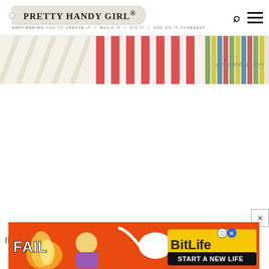PRETTY HANDY GIRL® — EMPOWERING YOU TO CREATE IT • BUILD IT • FIX IT • AND DO IT YOURSELF
[Figure (photo): Colorful striped fabric or wrapping paper banner image cropped at top of page]
[Figure (photo): BitLife advertisement banner: orange/red background with flame, cartoon blonde girl covering face, FAIL text, sperm logo, BitLife START A NEW LIFE text with close X button]
If you... check out my 2 Ingredient Ant Killer!